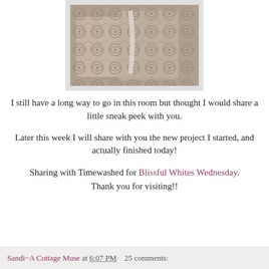[Figure (photo): Close-up photo of decorative pillows with gray and cream paisley/damask pattern fabric on a bed]
I still have a long way to go in this room but thought I would share a little sneak peek with you.
Later this week I will share with you the new project I started, and actually finished today!
Sharing with Timewashed for Blissful Whites Wednesday.
Thank you for visiting!!
Sandi~A Cottage Muse at 6:07 PM    25 comments: